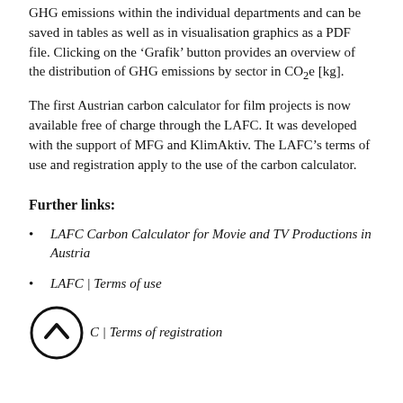GHG emissions within the individual departments and can be saved in tables as well as in visualisation graphics as a PDF file. Clicking on the ‘Grafik’ button provides an overview of the distribution of GHG emissions by sector in CO₂e [kg].
The first Austrian carbon calculator for film projects is now available free of charge through the LAFC. It was developed with the support of MFG and KlimAktiv. The LAFC’s terms of use and registration apply to the use of the carbon calculator.
Further links:
LAFC Carbon Calculator for Movie and TV Productions in Austria
LAFC | Terms of use
LAFC | Terms of registration